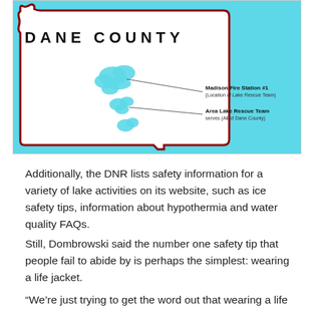[Figure (map): Map of Dane County (Wisconsin) showing the county border outlined in dark red on a cyan/light blue background. Inside the border is a white region representing the county land area. Several cyan lake shapes are shown in the interior. A callout line points from the lakes area to 'Madison Fire Station #1 (Location of Lake Rescue Team)' on the right side. A second callout line points to 'Area Lake Rescue Team serves (All of Dane County)' below it. 'DANE COUNTY' is printed in bold black letters near the top of the map.]
Additionally, the DNR lists safety information for a variety of lake activities on its website, such as ice safety tips, information about hypothermia and water quality FAQs.
Still, Dombrowski said the number one safety tip that people fail to abide by is perhaps the simplest: wearing a life jacket.
“We’re just trying to get the word out that wearing a life